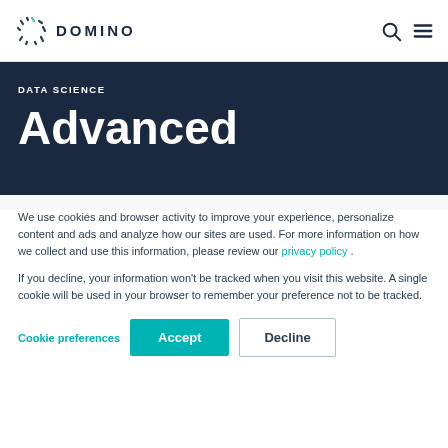DOMINO
DATA SCIENCE
Advanced
We use cookies and browser activity to improve your experience, personalize content and ads and analyze how our sites are used. For more information on how we collect and use this information, please review our privacy policy .
If you decline, your information won't be tracked when you visit this website. A single cookie will be used in your browser to remember your preference not to be tracked.
Cookie preferences   Accept   Decline